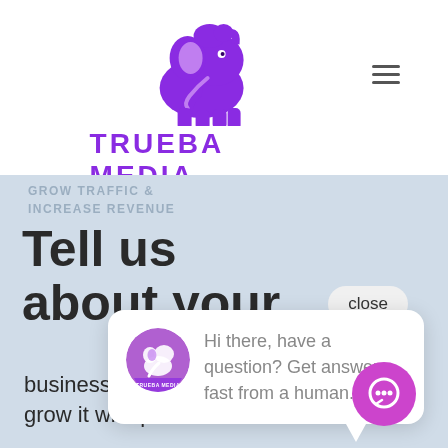[Figure (logo): Trueba Media purple elephant logo with brand name text]
GROW TRAFFIC & INCREASE REVENUE
Tell us about your
business online and grow it with passion
close
Hi there, have a question? Get answers fast from a human.
[Figure (logo): Trueba Media small circular avatar logo in chat bubble]
[Figure (illustration): Purple circular chat button with speech bubble icon]